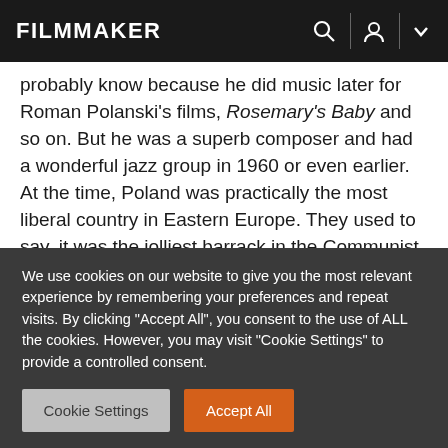FILMMAKER
probably know because he did music later for Roman Polanski’s films, Rosemary’s Baby and so on. But he was a superb composer and had a wonderful jazz group in 1960 or even earlier. At the time, Poland was practically the most liberal country in Eastern Europe. They used to say, it was the jolliest barrack in the Communist camp! (Laughter)
Filmmaker: If Ida is the first of your films that people see,
We use cookies on our website to give you the most relevant experience by remembering your preferences and repeat visits. By clicking “Accept All”, you consent to the use of ALL the cookies. However, you may visit "Cookie Settings" to provide a controlled consent.